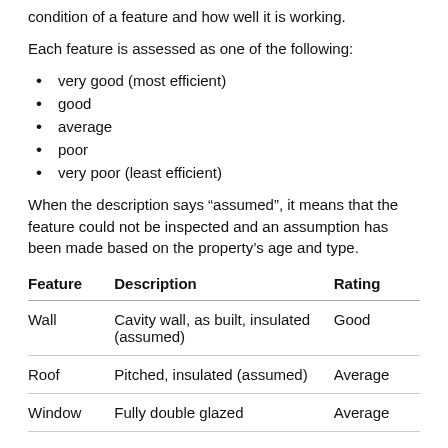condition of a feature and how well it is working.
Each feature is assessed as one of the following:
very good (most efficient)
good
average
poor
very poor (least efficient)
When the description says “assumed”, it means that the feature could not be inspected and an assumption has been made based on the property’s age and type.
| Feature | Description | Rating |
| --- | --- | --- |
| Wall | Cavity wall, as built, insulated (assumed) | Good |
| Roof | Pitched, insulated (assumed) | Average |
| Window | Fully double glazed | Average |